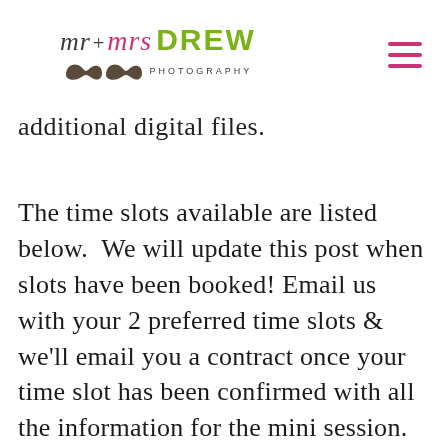mr+mrs DREW PHOTOGRAPHY
additional digital files.
The time slots available are listed below.  We will update this post when slots have been booked! Email us with your 2 preferred time slots & we'll email you a contract once your time slot has been confirmed with all the information for the mini session.